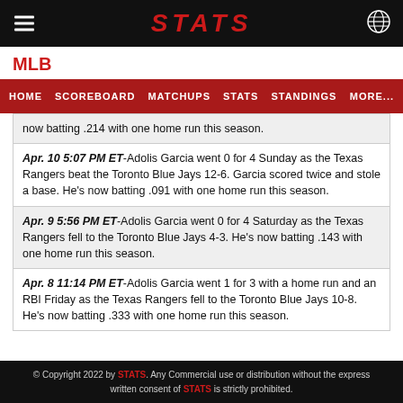STATS
MLB
HOME  SCOREBOARD  MATCHUPS  STATS  STANDINGS  MORE...
now batting .214 with one home run this season.
Apr. 10 5:07 PM ET-Adolis Garcia went 0 for 4 Sunday as the Texas Rangers beat the Toronto Blue Jays 12-6. Garcia scored twice and stole a base. He's now batting .091 with one home run this season.
Apr. 9 5:56 PM ET-Adolis Garcia went 0 for 4 Saturday as the Texas Rangers fell to the Toronto Blue Jays 4-3. He's now batting .143 with one home run this season.
Apr. 8 11:14 PM ET-Adolis Garcia went 1 for 3 with a home run and an RBI Friday as the Texas Rangers fell to the Toronto Blue Jays 10-8. He's now batting .333 with one home run this season.
© Copyright 2022 by STATS. Any Commercial use or distribution without the express written consent of STATS is strictly prohibited.